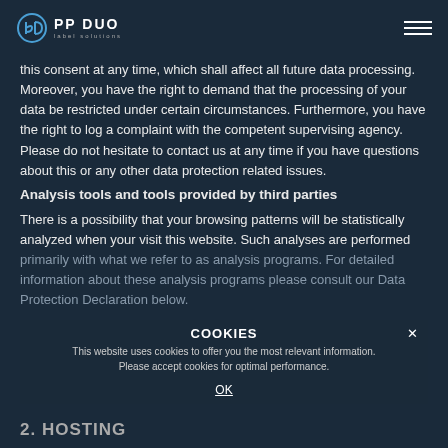PP DUO label solutions
this consent at any time, which shall affect all future data processing. Moreover, you have the right to demand that the processing of your data be restricted under certain circumstances. Furthermore, you have the right to log a complaint with the competent supervising agency. Please do not hesitate to contact us at any time if you have questions about this or any other data protection related issues.
Analysis tools and tools provided by third parties
There is a possibility that your browsing patterns will be statistically analyzed when your visit this website. Such analyses are performed primarily with what we refer to as analysis programs. For detailed information about these analysis programs please consult our Data Protection Declaration below.
2. HOSTING
COOKIES
This website uses cookies to offer you the most relevant information.
Please accept cookies for optimal performance.
OK